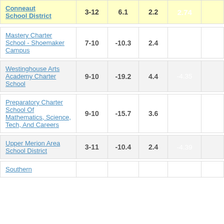| District/School | Grades | Col3 | Col4 | Col5 | Col6 |
| --- | --- | --- | --- | --- | --- |
| Conneaut School District | 3-12 | 6.1 | 2.2 | 2.74 |  |
| Mastery Charter School - Shoemaker Campus | 7-10 | -10.3 | 2.4 | -4.34 |  |
| Westinghouse Arts Academy Charter School | 9-10 | -19.2 | 4.4 | -4.35 |  |
| Preparatory Charter School Of Mathematics, Science, Tech, And Careers | 9-10 | -15.7 | 3.6 | -4.38 |  |
| Upper Merion Area School District | 3-11 | -10.4 | 2.4 | -4.39 |  |
| Southern |  |  |  |  |  |